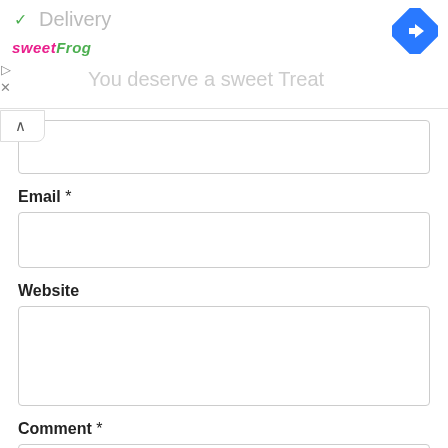[Figure (screenshot): Ad banner with green checkmark 'Delivery' text, sweetFrog logo, navigation diamond icon, play/close ad controls, and 'You deserve a sweet Treat' tagline]
Email *
Website
Comment *